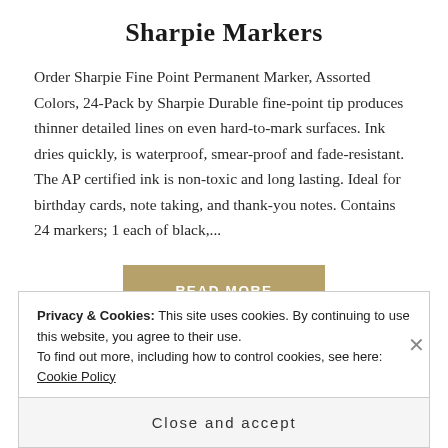Sharpie Markers
Order Sharpie Fine Point Permanent Marker, Assorted Colors, 24-Pack by Sharpie Durable fine-point tip produces thinner detailed lines on even hard-to-mark surfaces. Ink dries quickly, is waterproof, smear-proof and fade-resistant. The AP certified ink is non-toxic and long lasting. Ideal for birthday cards, note taking, and thank-you notes. Contains 24 markers; 1 each of black,...
READ MORE
Privacy & Cookies: This site uses cookies. By continuing to use this website, you agree to their use.
To find out more, including how to control cookies, see here: Cookie Policy
Close and accept